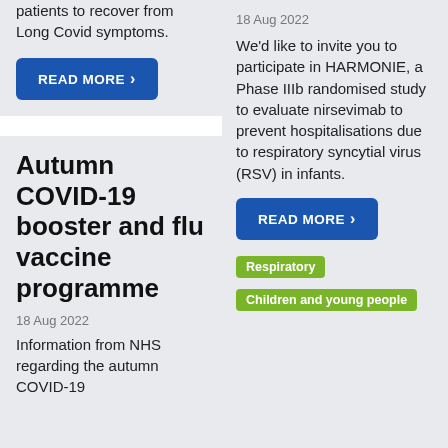patients to recover from Long Covid symptoms.
READ MORE ›
Autumn COVID-19 booster and flu vaccine programme
18 Aug 2022
Information from NHS regarding the autumn COVID-19
18 Aug 2022
We'd like to invite you to participate in HARMONIE, a Phase IIIb randomised study to evaluate nirsevimab to prevent hospitalisations due to respiratory syncytial virus (RSV) in infants.
READ MORE ›
Respiratory
Children and young people